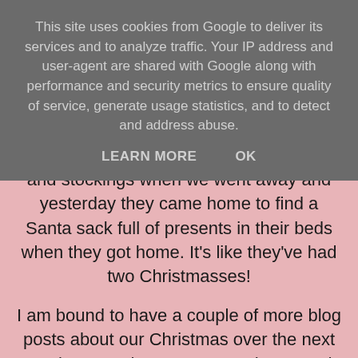This site uses cookies from Google to deliver its services and to analyze traffic. Your IP address and user-agent are shared with Google along with performance and security metrics to ensure quality of service, generate usage statistics, and to detect and address abuse.
LEARN MORE   OK
and stockings when we went away and yesterday they came home to find a Santa sack full of presents in their beds when they got home. It's like they've had two Christmasses!
I am bound to have a couple of more blog posts about our Christmas over the next week or so. I have so many photos and stories to tell. We had a fantastic time and I loved spending time with my dad and his partner Sarah.
I have been very sneaky over the past few months and especially the last few days. I said we were...